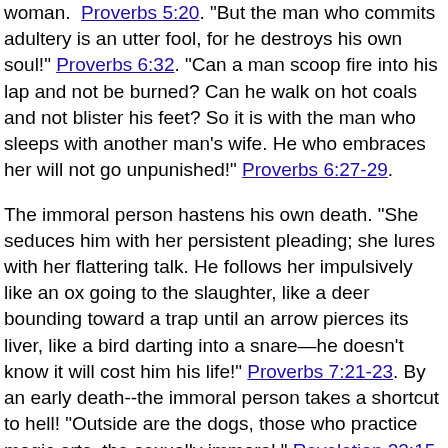woman. Proverbs 5:20. But the man who commits adultery is an utter fool, for he destroys his own soul! Proverbs 6:32. "Can a man scoop fire into his lap and not be burned? Can he walk on hot coals and not blister his feet? So it is with the man who sleeps with another man's wife. He who embraces her will not go unpunished!" Proverbs 6:27-29.
The immoral person hastens his own death. "She seduces him with her persistent pleading; she lures with her flattering talk. He follows her impulsively like an ox going to the slaughter, like a deer bounding toward a trap until an arrow pierces its liver, like a bird darting into a snare—he doesn't know it will cost him his life!" Proverbs 7:21-23. By an early death--the immoral person takes a shortcut to hell! "Outside are the dogs, those who practice magic arts, the sexually immoral." Revelation 22:15. "Nothing impure will ever enter it." Revelation 21:27
So at any risk, for sure, will it...